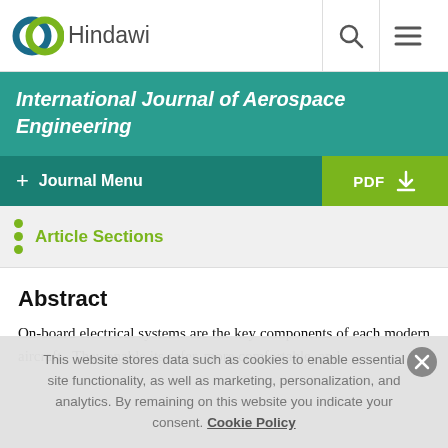Hindawi
International Journal of Aerospace Engineering
Journal Menu
Article Sections
Abstract
On-board electrical systems are the key components of each modern aircraft. They enable its safer, more comfortable, and
This website stores data such as cookies to enable essential site functionality, as well as marketing, personalization, and analytics. By remaining on this website you indicate your consent. Cookie Policy